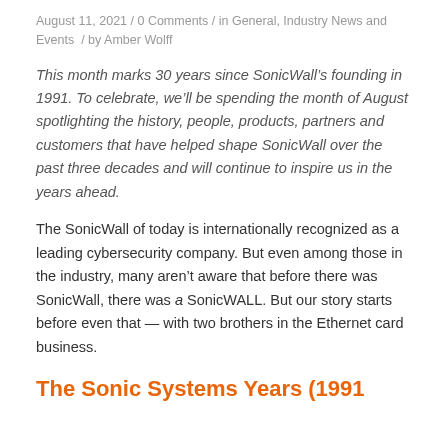August 11, 2021 / 0 Comments / in General, Industry News and Events / by Amber Wolff
This month marks 30 years since SonicWall’s founding in 1991. To celebrate, we’ll be spending the month of August spotlighting the history, people, products, partners and customers that have helped shape SonicWall over the past three decades and will continue to inspire us in the years ahead.
The SonicWall of today is internationally recognized as a leading cybersecurity company. But even among those in the industry, many aren’t aware that before there was SonicWall, there was a SonicWALL. But our story starts before even that — with two brothers in the Ethernet card business.
The Sonic Systems Years (1991